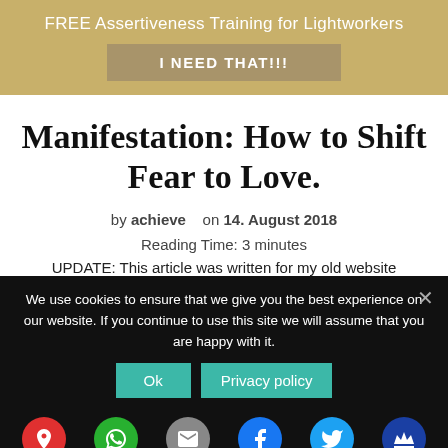FREE Assertiveness Training for Lightworkers
I NEED THAT!!!
Manifestation: How to Shift Fear to Love.
by achieve   on 14. August 2018
Reading Time: 3 minutes
UPDATE: This article was written for my old website
We use cookies to ensure that we give you the best experience on our website. If you continue to use this site we will assume that you are happy with it.
Ok   Privacy policy